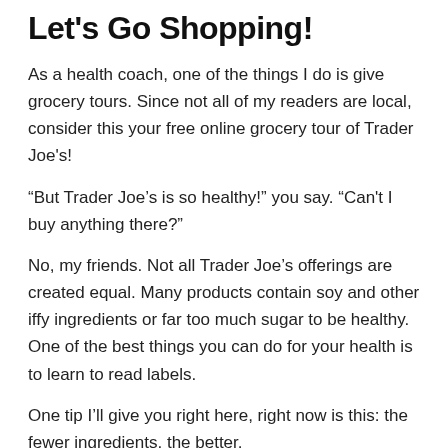Let's Go Shopping!
As a health coach, one of the things I do is give grocery tours. Since not all of my readers are local, consider this your free online grocery tour of Trader Joe's!
“But Trader Joe’s is so healthy!” you say. “Can't I buy anything there?”
No, my friends. Not all Trader Joe’s offerings are created equal. Many products contain soy and other iffy ingredients or far too much sugar to be healthy. One of the best things you can do for your health is to learn to read labels.
One tip I’ll give you right here, right now is this: the fewer ingredients, the better.
First, let’s go to Trader Joe’s and see some of the...